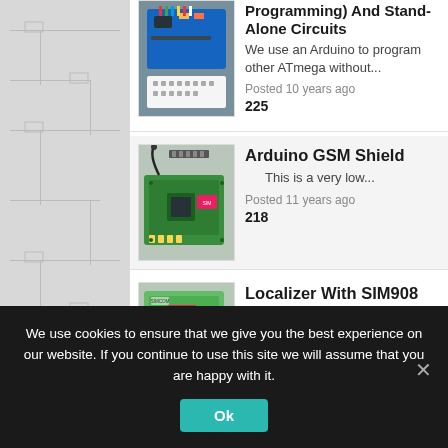Programming) And Stand-Alone Circuits
We use an Arduino to program other ATmega without...
Posted 10 years ago
225
Arduino GSM Shield
This is a very low...
Posted 11 years ago
218
Localizer With SIM908 Module
The device is based on a
We use cookies to ensure that we give you the best experience on our website. If you continue to use this site we will assume that you are happy with it.
Ok